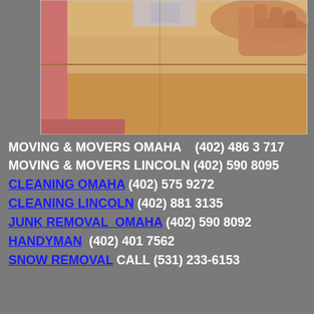[Figure (photo): Photo of hands taping a cardboard moving box on a dolly/hand truck with a pink/red frame]
MOVING & MOVERS OMAHA   (402) 486 3717
MOVING & MOVERS LINCOLN (402) 590 8095
CLEANING OMAHA (402) 575 9272
CLEANING LINCOLN (402) 881 3135
JUNK REMOVAL  OMAHA (402) 590 8092
HANDYMAN  (402) 401 7562
SNOW REMOVAL CALL (531) 233-6153